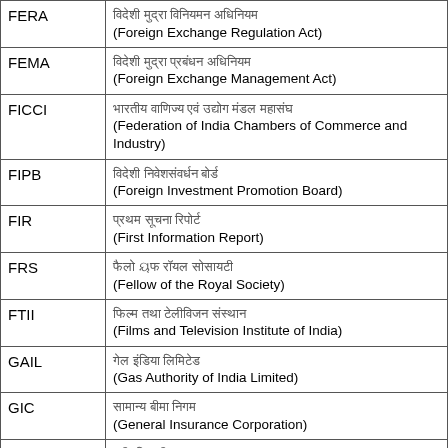| Abbreviation | Full Form |
| --- | --- |
| FERA | विदेशी मुद्रा विनियमन अधिनियम (Foreign Exchange Regulation Act) |
| FEMA | विदेशी मुद्रा प्रबंधन अधिनियम (Foreign Exchange Management Act) |
| FICCI | भारतीय वाणिज्य एवं उद्योग मंडल महासंघ (Federation of India Chambers of Commerce and Industry) |
| FIPB | विदेशी निवेशसंवर्धन बोर्ड (Foreign Investment Promotion Board) |
| FIR | प्रथम सूचना रिपोर्ट (First Information Report) |
| FRS | फैलो ऑफ रॉयल सोसाइटी (Fellow of the Royal Society) |
| FTII | फिल्म तथा टेलीविजन संस्थान (Films and Television Institute of India) |
| GAIL | गेल इंडिया लिमिटेड (Gas Authority of India Limited) |
| GIC | सामान्य बीमा निगम (General Insurance Corporation) |
| GMT | ग्रीनविच मीन टाइम (Greenwich Mean Time) |